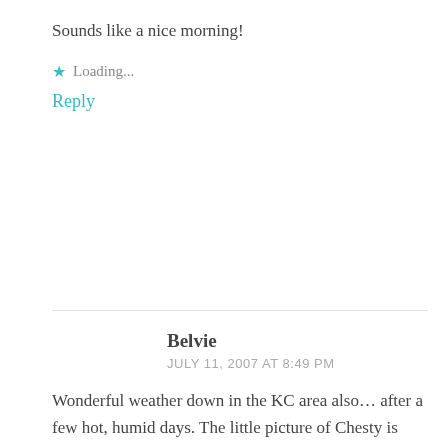Sounds like a nice morning!
Loading...
Reply
Belvie
JULY 11, 2007 AT 8:49 PM
Wonderful weather down in the KC area also... after a few hot, humid days. The little picture of Chesty is cute. Looks almost like he is taking a doggie break from reading a novel.
Loading...
Reply